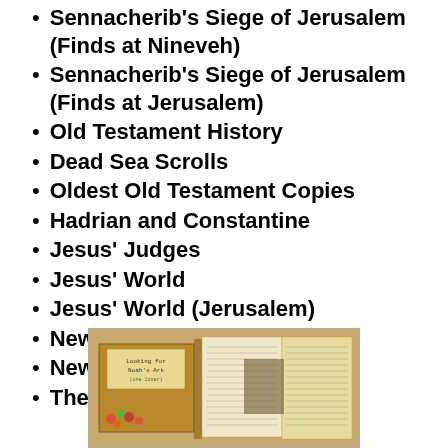Sennacherib's Siege of Jerusalem (Finds at Nineveh)
Sennacherib's Siege of Jerusalem (Finds at Jerusalem)
Old Testament History
Dead Sea Scrolls
Oldest Old Testament Copies
Hadrian and Constantine
Jesus' Judges
Jesus' World
Jesus' World (Jerusalem)
New Testament Locations
New Testament Inscriptions
The Burial Shroud of Jesus?
[Figure (photo): An open book or Bible with handwritten text pages, alongside what appears to be a 'Looking for Noah's Ark' label/tag, with colorful flowers visible]